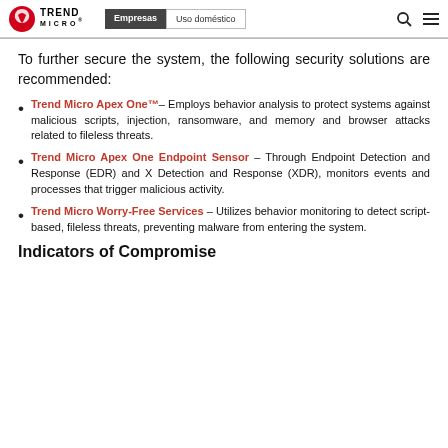Trend Micro | Empresas | Uso doméstico
To further secure the system, the following security solutions are recommended:
Trend Micro Apex One™– Employs behavior analysis to protect systems against malicious scripts, injection, ransomware, and memory and browser attacks related to fileless threats.
Trend Micro Apex One Endpoint Sensor – Through Endpoint Detection and Response (EDR) and X Detection and Response (XDR), monitors events and processes that trigger malicious activity.
Trend Micro Worry-Free Services – Utilizes behavior monitoring to detect script-based, fileless threats, preventing malware from entering the system.
Indicators of Compromise